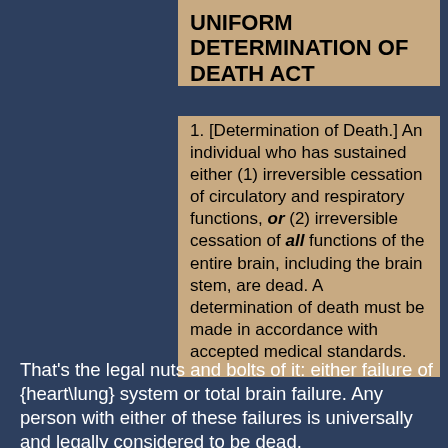UNIFORM DETERMINATION OF DEATH ACT
1. [Determination of Death.] An individual who has sustained either (1) irreversible cessation of circulatory and respiratory functions, or (2) irreversible cessation of all functions of the entire brain, including the brain stem, are dead. A determination of death must be made in accordance with accepted medical standards.
That's the legal nuts and bolts of it: either failure of {heart\lung} system or total brain failure. Any person with either of these failures is universally and legally considered to be dead. The word "irreversible" is used to